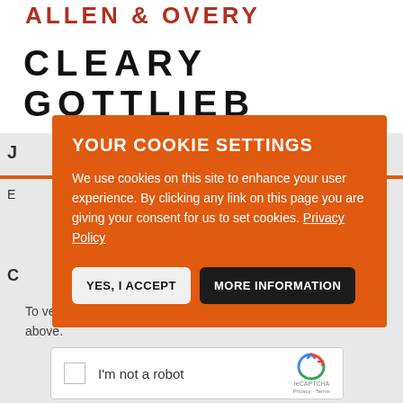ALLEN & OVERY
CLEARY GOTTLIEB
[Figure (screenshot): Cookie consent overlay dialog on a legal website. Orange background with title 'YOUR COOKIE SETTINGS', explanatory text about cookies, Privacy Policy link, and two buttons: 'YES, I ACCEPT' (light) and 'MORE INFORMATION' (dark).]
YOUR COOKIE SETTINGS
We use cookies on this site to enhance your user experience. By clicking any link on this page you are giving your consent for us to set cookies. Privacy Policy
To verify your identity, please type what you see in the box above.
[Figure (other): reCAPTCHA widget with checkbox labeled 'I'm not a robot' and Google reCAPTCHA logo]